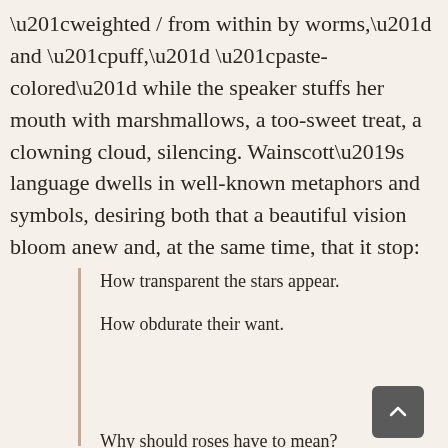“weighted / from within by worms,” and “puff,” “paste-colored” while the speaker stuffs her mouth with marshmallows, a too-sweet treat, a clowning cloud, silencing. Wainscott’s language dwells in well-known metaphors and symbols, desiring both that a beautiful vision bloom anew and, at the same time, that it stop:
How transparent the stars appear.

How obdurate their want.

Why should roses have to mean?